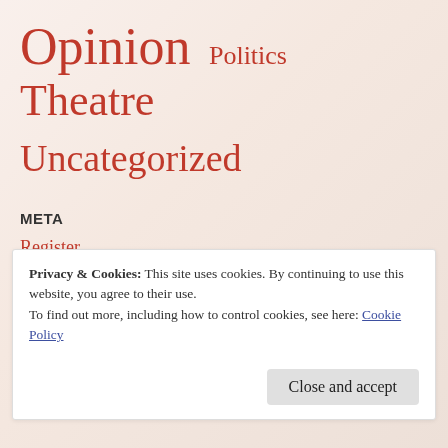Opinion Politics Theatre
Uncategorized
META
Register
Log in
Entries feed
Comments feed
WordPress.com
Privacy & Cookies: This site uses cookies. By continuing to use this website, you agree to their use. To find out more, including how to control cookies, see here: Cookie Policy
Close and accept